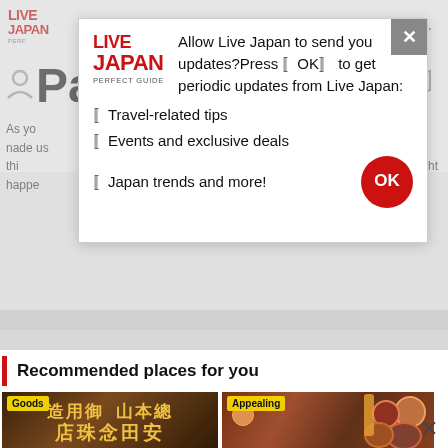LIVE JAPAN PERFECT GUIDE
[Figure (screenshot): Browser notification permission dialog for Live Japan website with modal popup. Modal shows Live Japan logo, text asking user to allow notifications, bullet points listing Travel-related tips, Events and exclusive deals, Japan trends and more!, and a red OK button. Background shows partial website content with 'Recommended places for you' section and two place cards (Goods: Japanese store sign, Appealing: food bowls).]
Allow Live Japan to send you updates? Press ‹OK› to get periodic updates from Live Japan:
‹Travel-related tips
‹Events and exclusive deals
‹Japan trends and more!
Recommended places for you
Goods
Appealing